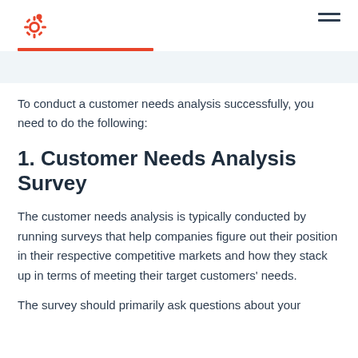HubSpot logo and navigation menu
To conduct a customer needs analysis successfully, you need to do the following:
1. Customer Needs Analysis Survey
The customer needs analysis is typically conducted by running surveys that help companies figure out their position in their respective competitive markets and how they stack up in terms of meeting their target customers' needs.
The survey should primarily ask questions about your